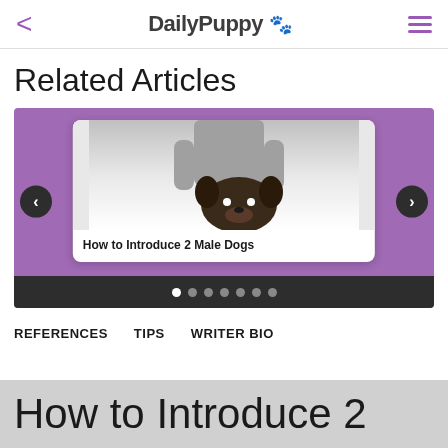DailyPuppy 🐾
Related Articles
[Figure (screenshot): Carousel card showing a person with a dog, titled 'How to Introduce 2 Male Dogs', with navigation arrows and pagination dots on a purple background]
REFERENCES    TIPS    WRITER BIO
How to Introduce 2